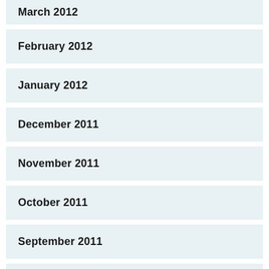March 2012
February 2012
January 2012
December 2011
November 2011
October 2011
September 2011
August 2011
July 2011